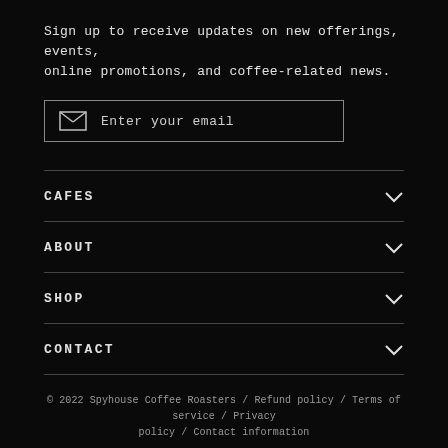Sign up to receive updates on new offerings, events, online promotions, and coffee-related news.
[Figure (other): Email input field with envelope icon and placeholder text 'Enter your email']
CAFES
ABOUT
SHOP
CONTACT
© 2022 Spyhouse Coffee Roasters / Refund policy / Terms of service / Privacy policy / Contact information